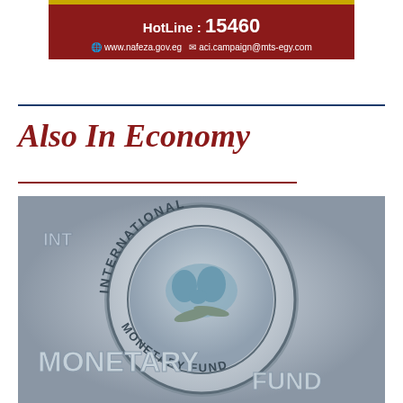[Figure (infographic): Dark red banner with gold top bar showing HotLine: 15460, www.nafeza.gov.eg, aci.campaign@mts-egy.com]
Also In Economy
[Figure (photo): Close-up photograph of the International Monetary Fund (IMF) emblem/logo plaque showing the circular seal with world map, laurel branch, and the text INTERNATIONAL MONETARY FUND around the border, in silver/metallic finish]